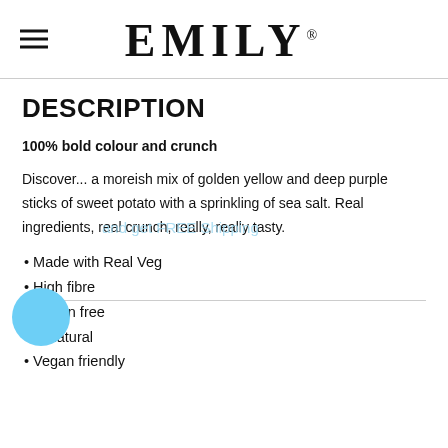EMILY
DESCRIPTION
100% bold colour and crunch
Discover... a moreish mix of golden yellow and deep purple sticks of sweet potato with a sprinkling of sea salt. Real ingredients, real crunch, really, really tasty.
Made with Real Veg
High fibre
Gluten free
ll natural
Vegan friendly